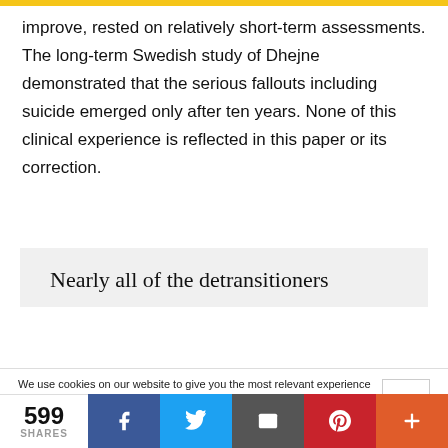improve, rested on relatively short-term assessments. The long-term Swedish study of Dhejne demonstrated that the serious fallouts including suicide emerged only after ten years. None of this clinical experience is reflected in this paper or its correction.
Nearly all of the detransitioners
We use cookies on our website to give you the most relevant experience by remembering your preferences and repeat visits. By clicking “Accept All”, you consent to the use of ALL the cookies. However, you may visit "Cookie Settings" to provide a controlled consent.
599 SHARES